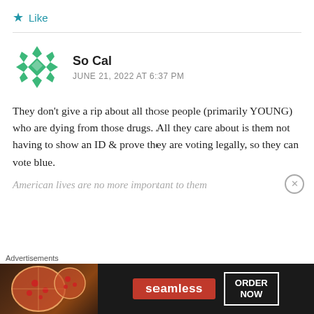Like
[Figure (illustration): Green geometric snowflake-style avatar for user So Cal]
So Cal
JUNE 21, 2022 AT 6:37 PM
They don't give a rip about all those people (primarily YOUNG) who are dying from those drugs. All they care about is them not having to show an ID & prove they are voting legally, so they can vote blue.
American lives are no more important to them
Advertisements
[Figure (screenshot): Seamless food delivery advertisement banner with pizza image, Seamless logo in red, and ORDER NOW button]